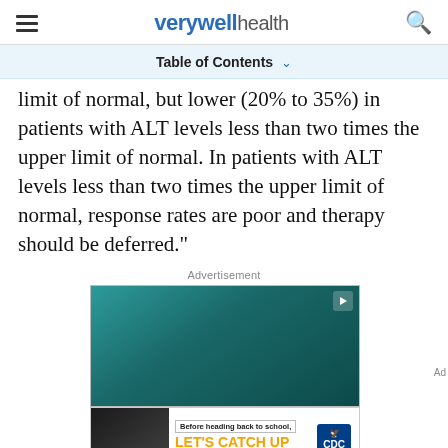verywell health
Table of Contents
limit of normal, but lower (20% to 35%) in patients with ALT levels less than two times the upper limit of normal. In patients with ALT levels less than two times the upper limit of normal, response rates are poor and therapy should be deferred."
Advertisement
[Figure (other): Advertisement banner with teal/green gradient background and a play icon in top-right corner, overlaid with a CDC vaccine banner at the bottom reading 'Before heading back to school, LET'S CATCH UP ON ROUTINE VACCINES' with CDC shield logo.]